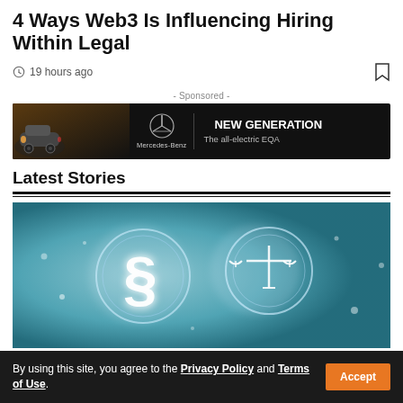4 Ways Web3 Is Influencing Hiring Within Legal
19 hours ago
- Sponsored -
[Figure (illustration): Mercedes-Benz advertisement banner showing a silver SUV on the left and text 'NEW GENERATION The all-electric EQA' with the Mercedes-Benz logo on a dark background]
Latest Stories
[Figure (photo): Glowing legal symbols including a section symbol (§) and scales of justice on a blue-teal background, representing law and justice]
By using this site, you agree to the Privacy Policy and Terms of Use.